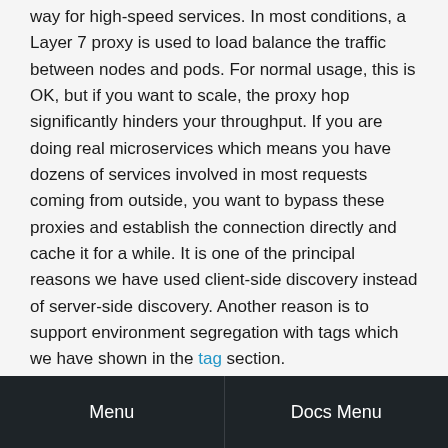way for high-speed services. In most conditions, a Layer 7 proxy is used to load balance the traffic between nodes and pods. For normal usage, this is OK, but if you want to scale, the proxy hop significantly hinders your throughput. If you are doing real microservices which means you have dozens of services involved in most requests coming from outside, you want to bypass these proxies and establish the connection directly and cache it for a while. It is one of the principal reasons we have used client-side discovery instead of server-side discovery. Another reason is to support environment segregation with tags which we have shown in the tag section.
Environment
Menu | Docs Menu